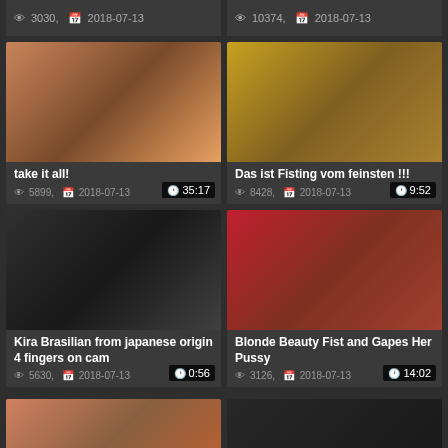3030, 2018-07-13
10374, 2018-07-13
[Figure (photo): Video thumbnail - take it all!, duration 35:17]
take it all!
5899, 2018-07-13
[Figure (photo): Video thumbnail - Das ist Fisting vom feinsten !!!, duration 9:52]
Das ist Fisting vom feinsten !!!
8428, 2018-07-13
[Figure (photo): Video thumbnail - Kira Brasilian from japanese origin 4 fingers on cam, duration 0:56]
Kira Brasilian from japanese origin 4 fingers on cam
5630, 2018-07-13
[Figure (photo): Video thumbnail - Blonde Beauty Fist and Gapes Her Pussy, duration 14:02]
Blonde Beauty Fist and Gapes Her Pussy
3126, 2018-07-13
[Figure (photo): Video thumbnail bottom left - partial view]
[Figure (photo): Video thumbnail bottom right - partial view]